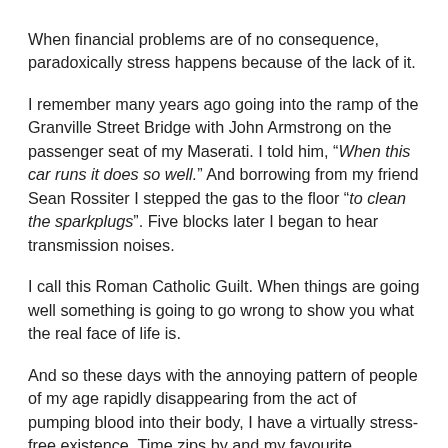When financial problems are of no consequence, paradoxically stress happens because of the lack of it.
I remember many years ago going into the ramp of the Granville Street Bridge with John Armstrong on the passenger seat of my Maserati. I told him, “When this car runs it does so well.” And borrowing from my friend Sean Rossiter I stepped the gas to the floor “to clean the sparkplugs”. Five blocks later I began to hear transmission noises.
I call this Roman Catholic Guilt. When things are going well something is going to go wrong to show you what the real face of life is.
And so these days with the annoying pattern of people of my age rapidly disappearing from the act of pumping blood into their body, I have a virtually stress-free existence. Time zips by and my favourite expression to Rosemary around 6 PM when we are about to watch Rachel Maddow is, “It seems that five minutes ago it was yesterday.” There is no Robert